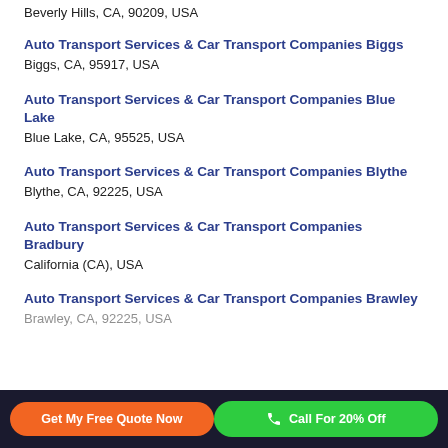Beverly Hills, CA, 90209, USA
Auto Transport Services & Car Transport Companies Biggs
Biggs, CA, 95917, USA
Auto Transport Services & Car Transport Companies Blue Lake
Blue Lake, CA, 95525, USA
Auto Transport Services & Car Transport Companies Blythe
Blythe, CA, 92225, USA
Auto Transport Services & Car Transport Companies Bradbury
California (CA), USA
Auto Transport Services & Car Transport Companies Brawley
Brawley, CA, 92225, USA